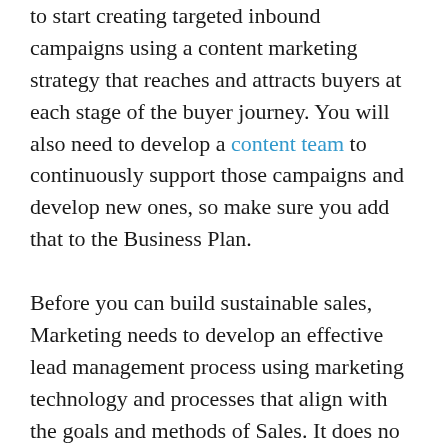to start creating targeted inbound campaigns using a content marketing strategy that reaches and attracts buyers at each stage of the buyer journey. You will also need to develop a content team to continuously support those campaigns and develop new ones, so make sure you add that to the Business Plan.
Before you can build sustainable sales, Marketing needs to develop an effective lead management process using marketing technology and processes that align with the goals and methods of Sales. It does no good to attract leads sales reps reject or deliver leads when it is either too early or too late in the buyer journey. Together, Marketing and Sales need to craft an effective pipeline that is constantly filled